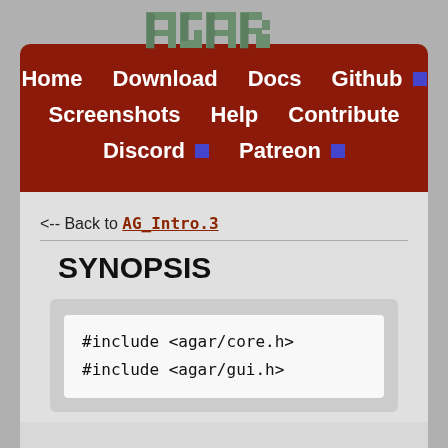AGAR
Home | Download | Docs | Github | Screenshots | Help | Contribute | Discord | Patreon
<-- Back to AG_Intro.3
SYNOPSIS
#include <agar/core.h>
#include <agar/gui.h>